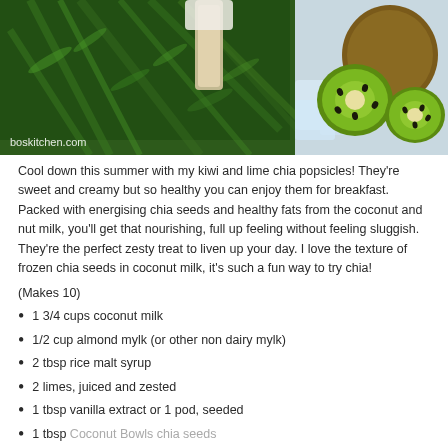[Figure (photo): Overhead photo of kiwi and lime chia popsicles on fern leaves with kiwi fruit halves and ice cubes, with watermark boskitchen.com]
Cool down this summer with my kiwi and lime chia popsicles! They're sweet and creamy but so healthy you can enjoy them for breakfast. Packed with energising chia seeds and healthy fats from the coconut and nut milk, you'll get that nourishing, full up feeling without feeling sluggish. They're the perfect zesty treat to liven up your day. I love the texture of frozen chia seeds in coconut milk, it's such a fun way to try chia!
(Makes 10)
1 3/4 cups coconut milk
1/2 cup almond mylk (or other non dairy mylk)
2 tbsp rice malt syrup
2 limes, juiced and zested
1 tbsp vanilla extract or 1 pod, seeded
1 tbsp Coconut Bowls chia seeds